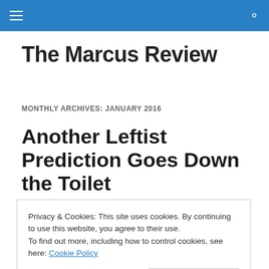The Marcus Review — site header with hamburger menu and search icon
The Marcus Review
MONTHLY ARCHIVES: JANUARY 2016
Another Leftist Prediction Goes Down the Toilet
Privacy & Cookies: This site uses cookies. By continuing to use this website, you agree to their use.
To find out more, including how to control cookies, see here: Cookie Policy
Close and accept